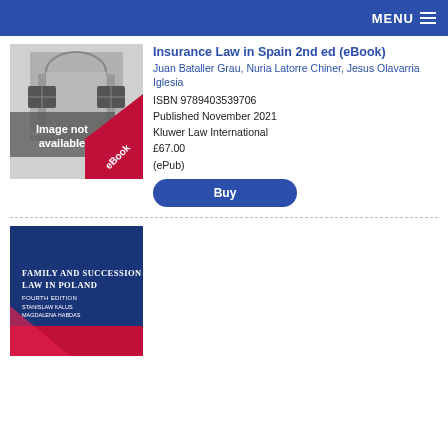MENU
[Figure (illustration): Book cover placeholder showing a building facade illustration with 'Image not available' text and an 'eBook' ribbon banner]
Insurance Law in Spain 2nd ed (eBook)
Juan Bataller Grau, Nuria Latorre Chiner, Jesus Olavarria Iglesia
ISBN 9789403539706
Published November 2021
Kluwer Law International
£67.00
(ePub)
[Figure (illustration): Book cover for 'Family and Succession Law in Poland, Fourth Edition' with blue background and pink bottom strip]